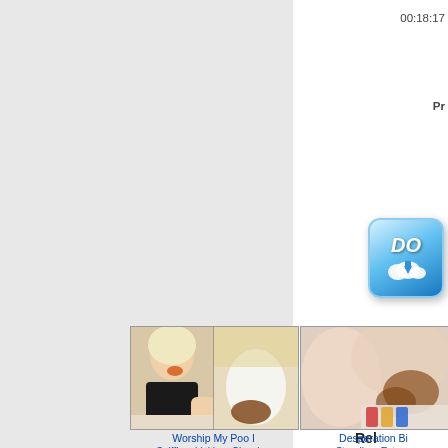00:18:17
Pr
[Figure (other): Blue cloud download button with 'DO' text and cloud/arrow icon]
Rel
[Figure (photo): Thumbnail image - Worship My Poo I]
[Figure (photo): Thumbnail image - Desperation Bi]
Worship My Poo I
Sniffing, Licking, Chewing
Desperation Bi
Standing, Extrem